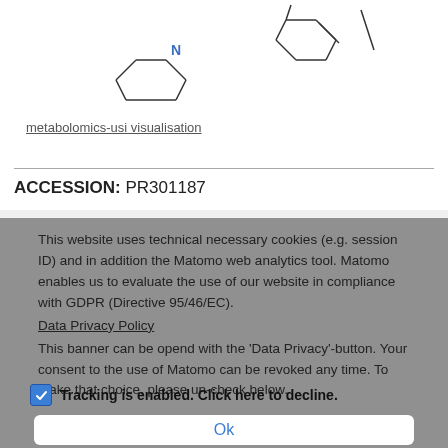[Figure (illustration): Chemical structure drawing showing a piperazine ring with nitrogen atom labeled in blue, and other molecular fragments including what appears to be a naphthalene-based ring system.]
metabolomics-usi visualisation
ACCESSION: PR301187
This website uses technical necessary cookies (e.g. session ID) and in addition the Matomo web analytics tool. Matomo enables us to evaluate the use of our website in compliance with GDPR (Directive 95/46/EC). Data Privacy Policy This banner can be opend with the 'Data Privacy'-button. Your consent to the use of Matomo can be revoked any time. To make that choice, please un-check below.
Tracking is enabled. Click here to decline.
Ok